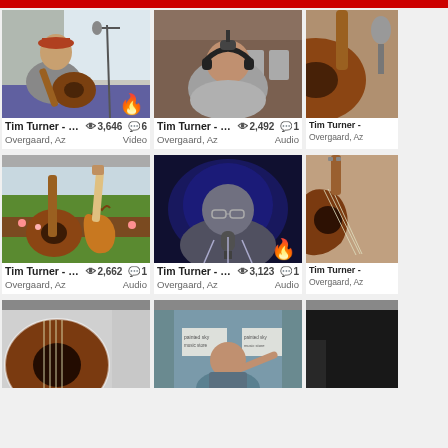[Figure (screenshot): Grid of music video/audio thumbnails for Tim Turner from Overgaard, Az. Shows 3 rows of 3 columns (right column partially visible). Row 1: man playing acoustic guitar (3,646 views, 6 comments, Video), man with headphones at mic (2,492 views, 1 comment, Audio), partial guitar image. Row 2: two guitars on lawn (2,662 views, 1 comment, Audio), man singing at mic in blue toned image (3,123 views, 1 comment, Audio), partial guitar image. Row 3: partial guitar, man at doorway, partial dark image.]